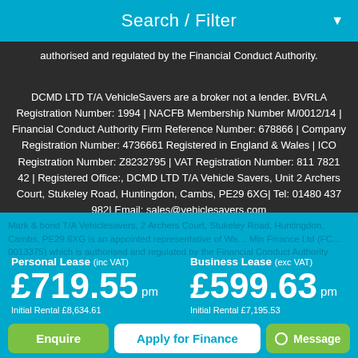Search / Filter
authorised and regulated by the Financial Conduct Authority.
DCMD LTD T/A VehicleSavers are a broker not a lender. BVRLA Registration Number: 1994 | NACFB Membership Number M/0012/14 | Financial Conduct Authority Firm Reference Number: 678866 | Company Registration Number: 4736661 Registered in England & Wales | ICO Registration Number: Z8232795 | VAT Registration Number: 811 7821 42 | Registered Office:, DCMD LTD T/A Vehicle Savers, Unit 2 Archers Court, Stukeley Road, Huntingdon, Cambs, PE29 6XG| Tel: 01480 437 982| Email: sales@vehiclesavers.com
Personal Lease (inc VAT)
£719.55 pm
Initial Rental £8,634.61
Business Lease (exc VAT)
£599.63 pm
Initial Rental £7,195.53